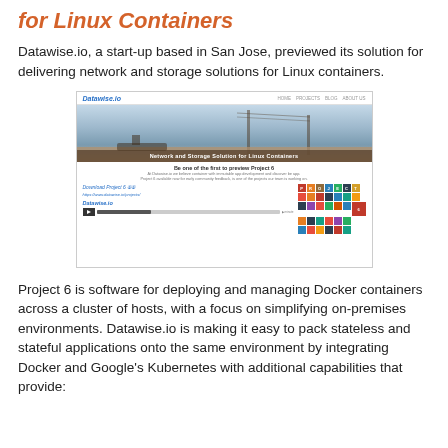for Linux Containers
Datawise.io, a start-up based in San Jose, previewed its solution for delivering network and storage solutions for Linux containers.
[Figure (screenshot): Screenshot of the Datawise.io website showing the 'Network and Storage Solution for Linux Containers' hero banner, Project 6 preview section with download link, a video player bar, the Datawise.io logo, and a colorful block-letter PROJECT graphic.]
Project 6 is software for deploying and managing Docker containers across a cluster of hosts, with a focus on simplifying on-premises environments. Datawise.io is making it easy to pack stateless and stateful applications onto the same environment by integrating Docker and Google's Kubernetes with additional capabilities that provide: